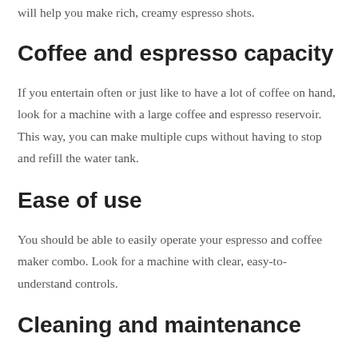will help you make rich, creamy espresso shots.
Coffee and espresso capacity
If you entertain often or just like to have a lot of coffee on hand, look for a machine with a large coffee and espresso reservoir. This way, you can make multiple cups without having to stop and refill the water tank.
Ease of use
You should be able to easily operate your espresso and coffee maker combo. Look for a machine with clear, easy-to-understand controls.
Cleaning and maintenance
Cleaning and maintaining your espresso and coffee maker combo should be easy. Look for a machine with removable parts that can